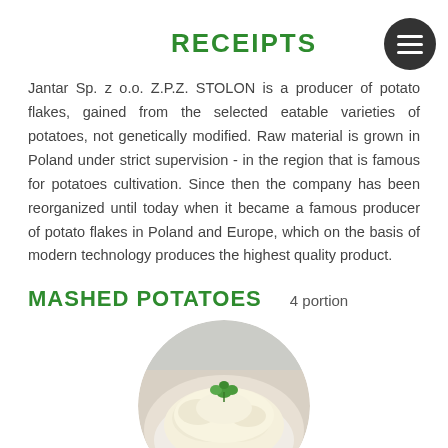RECEIPTS
Jantar Sp. z o.o. Z.P.Z. STOLON is a producer of potato flakes, gained from the selected eatable varieties of potatoes, not genetically modified. Raw material is grown in Poland under strict supervision - in the region that is famous for potatoes cultivation. Since then the company has been reorganized until today when it became a famous producer of potato flakes in Poland and Europe, which on the basis of modern technology produces the highest quality product.
MASHED POTATOES
4 portion
[Figure (photo): A circular photo of mashed potatoes in a bowl, garnished with a parsley leaf, on a light background.]